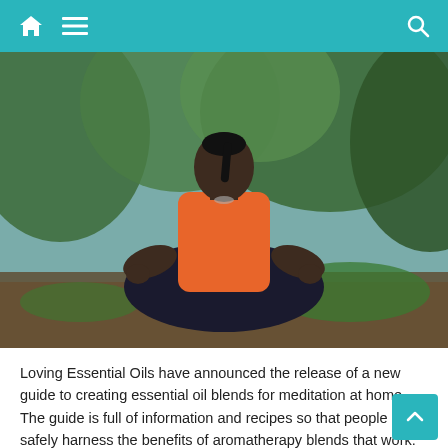[Navigation bar with home icon, menu icon, and search icon]
[Figure (photo): A woman in an orange tank top and black pants sitting cross-legged in a meditation pose outdoors, surrounded by green trees and foliage.]
Loving Essential Oils have announced the release of a new guide to creating essential oil blends for meditation at home. The guide is full of information and recipes so that people can safely harness the benefits of aromatherapy blends that work.
For more information, please visit the website here:
https://www.lovingessentialoils.com/blogs/diy-recipes/meditation-essential-oil-blends